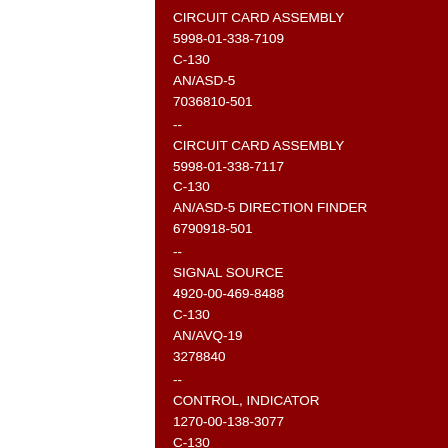CIRCUIT CARD ASSEMBLY
5998-01-338-7109
C-130
AN/ASD-5
7036810-501
--
CIRCUIT CARD ASSEMBLY
5998-01-338-7117
C-130
AN/ASD-5 DIRECTION FINDER
6790918-501
--
SIGNAL SOURCE
4920-00-469-8488
C-130
AN/AVQ-19
3278840
--
CONTROL, INDICATOR
1270-00-138-3077
C-130
AN/AVQ-19
3278800